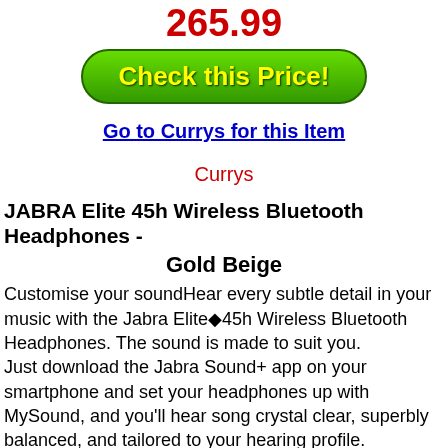265.99
[Figure (other): Green rounded button with yellow bold text reading 'Check this Price!']
Go to Currys for this Item
Currys
JABRA Elite 45h Wireless Bluetooth Headphones - Gold Beige
Customise your soundHear every subtle detail in your music with the Jabra Elite�45h Wireless Bluetooth Headphones. The sound is made to suit you.
Just download the Jabra Sound+ app on your smartphone and set your headphones up with MySound, and you'll hear song crystal clear, superbly balanced, and tailored to your hearing profile.
You can tweak the sound manually, too.
Crank up the bass for your dance and electronic playlists or